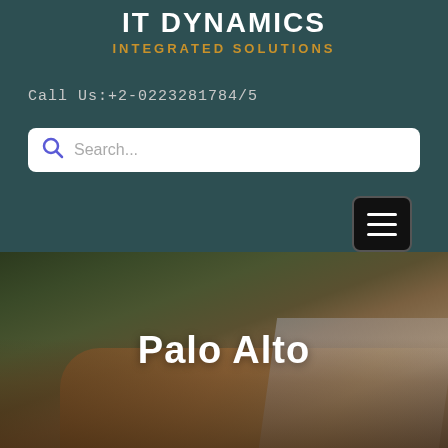IT DYNAMICS
INTEGRATED SOLUTIONS
Call Us:+2-0223281784/5
[Figure (screenshot): Search bar with magnifying glass icon and placeholder text 'Search...']
[Figure (screenshot): Hamburger menu button (three horizontal lines) on dark background]
[Figure (photo): Blurred photo of hands on a laptop keyboard, dark green/brown tones]
Palo Alto